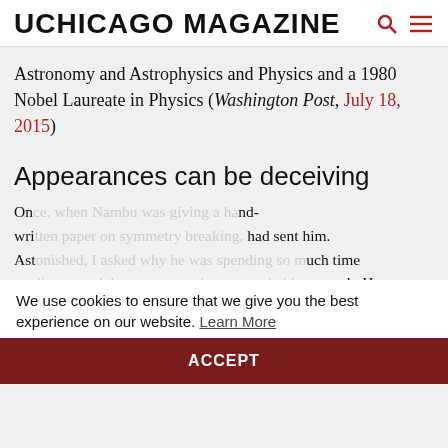UCHICAGO MAGAZINE
Astronomy and Astrophysics and Physics and a 1980 Nobel Laureate in Physics (Washington Post, July 18, 2015)
Appearances can be deceiving
Once, when Nambu was giving a handwritten paper on symmetry breaking, had sent him. Astonished, I asked why he was spending so much time reading a work by someone who was probably a quack. He replied that when Albert Einstein had received a paper out
We use cookies to ensure that we give you the best experience on our website. Learn More ACCEPT